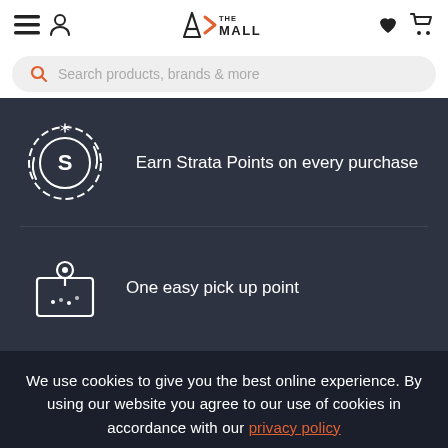AX THE MALL
Search products, brands & more
[Figure (illustration): Icon of a coin with letter S and sparkles, representing Strata Points rewards]
Earn Strata Points on every purchase
[Figure (illustration): Icon of a map with a location pin and dotted path, representing pick up point]
One easy pick up point
We use cookies to give you the best online experience. By using our website you agree to our use of cookies in accordance with our privacy policy
Continue